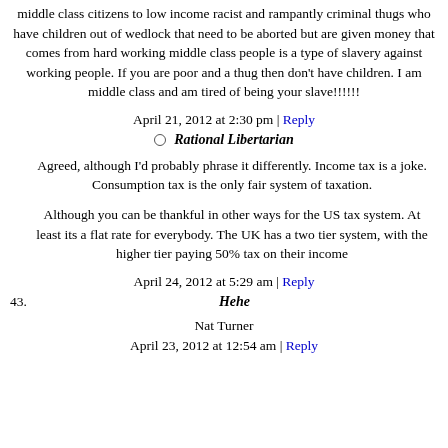middle class citizens to low income racist and rampantly criminal thugs who have children out of wedlock that need to be aborted but are given money that comes from hard working middle class people is a type of slavery against working people. If you are poor and a thug then don't have children. I am middle class and am tired of being your slave!!!!!!
April 21, 2012 at 2:30 pm | Reply
Rational Libertarian
Agreed, although I'd probably phrase it differently. Income tax is a joke. Consumption tax is the only fair system of taxation.
Although you can be thankful in other ways for the US tax system. At least its a flat rate for everybody. The UK has a two tier system, with the higher tier paying 50% tax on their income
April 24, 2012 at 5:29 am | Reply
Hehe
Nat Turner
April 23, 2012 at 12:54 am | Reply